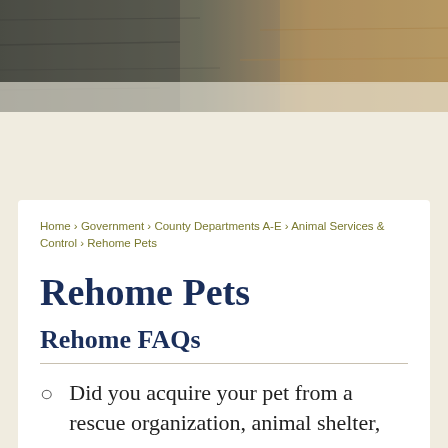[Figure (photo): A textured outdoor surface photo showing dark grey and sandy brown rocky or soil ground, used as a decorative hero banner image at the top of the page.]
Home › Government › County Departments A-E › Animal Services & Control › Rehome Pets
Rehome Pets
Rehome FAQs
Did you acquire your pet from a rescue organization, animal shelter,